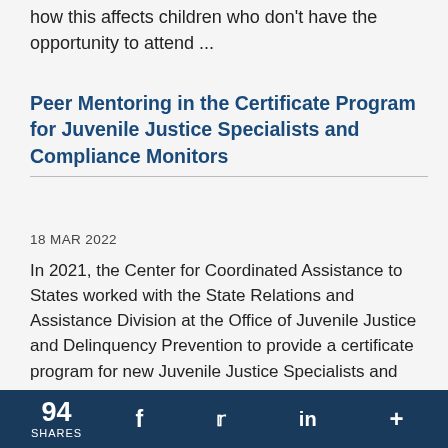how this affects children who don't have the opportunity to attend ...
Peer Mentoring in the Certificate Program for Juvenile Justice Specialists and Compliance Monitors
18 MAR 2022
In 2021, the Center for Coordinated Assistance to States worked with the State Relations and Assistance Division at the Office of Juvenile Justice and Delinquency Prevention to provide a certificate program for new Juvenile Justice Specialists and Compliance Monitors who work at the state level. Peer mentors are a main ...
94 SHARES  f  Twitter  in  +